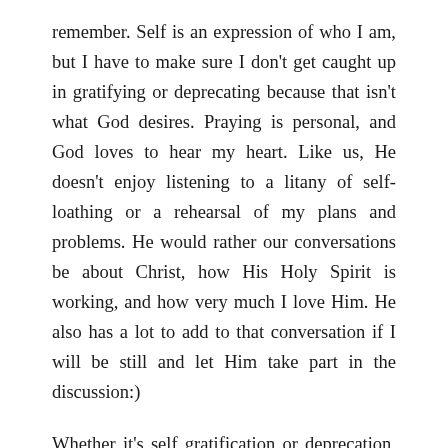remember. Self is an expression of who I am, but I have to make sure I don't get caught up in gratifying or deprecating because that isn't what God desires. Praying is personal, and God loves to hear my heart. Like us, He doesn't enjoy listening to a litany of self-loathing or a rehearsal of my plans and problems. He would rather our conversations be about Christ, how His Holy Spirit is working, and how very much I love Him. He also has a lot to add to that conversation if I will be still and let Him take part in the discussion:)
Whether it's self gratification or deprecation, it all amounts to being self-centered. That keeps me from drawing nearer to God and to those in my path. Intercessory prayer is a beautiful antidote when I find myself getting too far into myself. By praying for what God is up to where I am, I can...